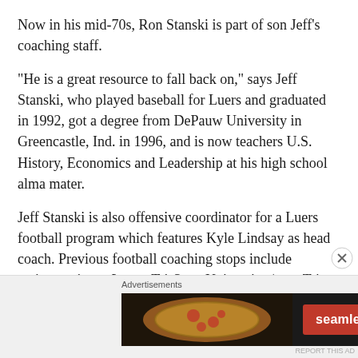Now in his mid-70s, Ron Stanski is part of son Jeff’s coaching staff.
“He is a great resource to fall back on,” says Jeff Stanski, who played baseball for Luers and graduated in 1992, got a degree from DePauw University in Greencastle, Ind. in 1996, and is now teachers U.S. History, Economics and Leadership at his high school alma mater.
Jeff Stanski is also offensive coordinator for a Luers football program which features Kyle Lindsay as head coach. Previous football coaching stops include assistant gigs at Luers, Tri-State University (now Trine University) and Fort Wane Snider High School.
[Figure (other): Advertisement banner for Seamless food ordering service showing pizza image on left, Seamless logo in red in center, and ORDER NOW button on right against dark background. 'Advertisements' label above the banner.]